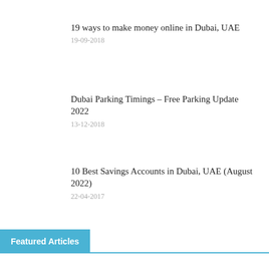19 ways to make money online in Dubai, UAE
19-09-2018
Dubai Parking Timings – Free Parking Update 2022
13-12-2018
10 Best Savings Accounts in Dubai, UAE (August 2022)
22-04-2017
Featured Articles